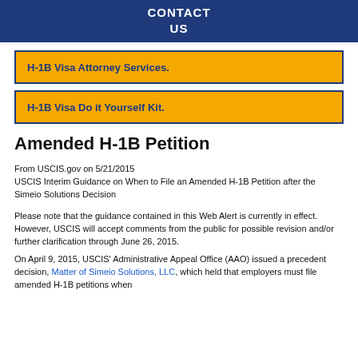CONTACT US
H-1B Visa Attorney Services.
H-1B Visa Do it Yourself Kit.
Amended H-1B Petition
From USCIS.gov on 5/21/2015
USCIS Interim Guidance on When to File an Amended H-1B Petition after the Simeio Solutions Decision
Please note that the guidance contained in this Web Alert is currently in effect.  However, USCIS will accept comments from the public for possible revision and/or further clarification through June 26, 2015.
On April 9, 2015, USCIS' Administrative Appeal Office (AAO) issued a precedent decision, Matter of Simeio Solutions, LLC, which held that employers must file amended H-1B petitions when